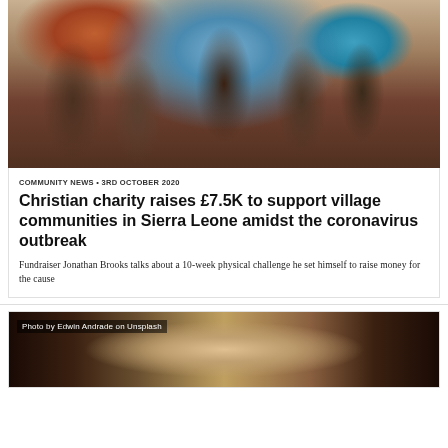[Figure (photo): Group of smiling African children photographed together]
COMMUNITY NEWS • 3RD OCTOBER 2020
Christian charity raises £7.5K to support village communities in Sierra Leone amidst the coronavirus outbreak
Fundraiser Jonathan Brooks talks about a 10-week physical challenge he set himself to raise money for the cause
[Figure (photo): Dark blurred background photo with caption: Photo by Edwin Andrade on Unsplash]